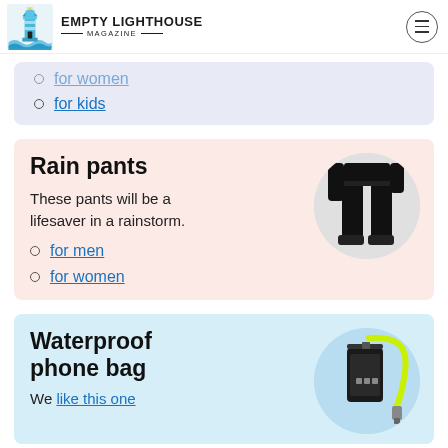EMPTY LIGHTHOUSE MAGAZINE
for women (cropped/partial)
for kids
Rain pants
These pants will be a lifesaver in a rainstorm.
[Figure (photo): Person wearing black rain pants, shown from waist down]
for men
for women
Waterproof phone bag
We like this one
[Figure (photo): Black waterproof phone bag with yellow-green lanyard strap]